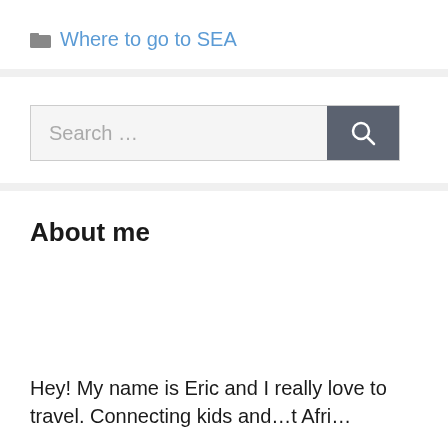Where to go to SEA
[Figure (other): Search bar with text 'Search ...' and a dark search button with magnifying glass icon]
About me
Hey! My name is Eric and I really love to travel. Connecting kids and... Afri...